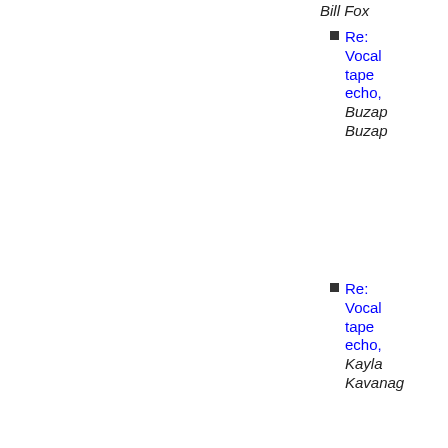Bill Fox
Re: Vocal tape echo, Buzap Buzap
Re: Vocal tape echo, Kayla Kavanagh
Re: Vocal tape echo, Buzap Buzap